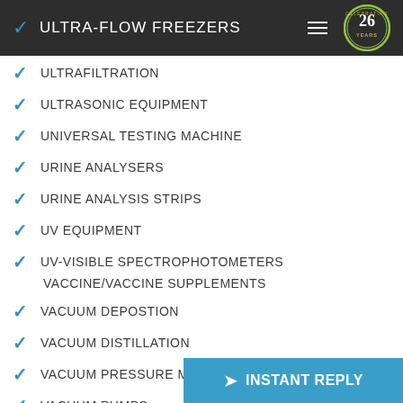ULTRA-FLOW FREEZERS
ULTRAFILTRATION
ULTRASONIC EQUIPMENT
UNIVERSAL TESTING MACHINE
URINE ANALYSERS
URINE ANALYSIS STRIPS
UV EQUIPMENT
UV-VISIBLE SPECTROPHOTOMETERS
VACCINE/VACCINE SUPPLEMENTS
VACUUM DEPOSTION
VACUUM DISTILLATION
VACUUM PRESSURE MEASUREMENT
VACUUM PUMPS
[Figure (logo): Celebrating 26 Years circular badge logo in green and gold on dark background]